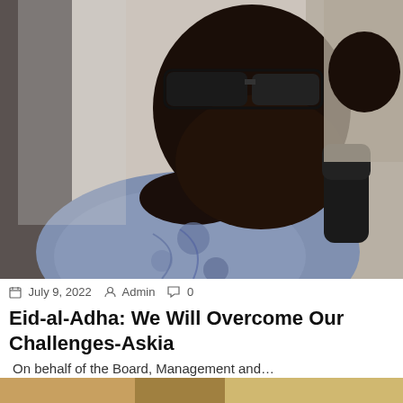[Figure (photo): Close-up photo of a heavyset man wearing dark sunglasses and a blue/grey patterned traditional shirt, holding a microphone, with another person partially visible behind him.]
July 9, 2022  Admin  0
Eid-al-Adha: We Will Overcome Our Challenges-Askia
On behalf of the Board, Management and…
Breaking  Religion  Vital News